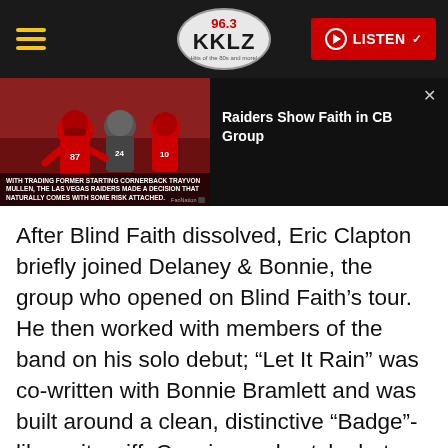96.3 KKLZ | LISTEN
[Figure (screenshot): Video thumbnail showing NFL football players (Raiders vs Chiefs) with overlay text: WITH TRADING FORMER STARTING CORNERBACK TRAYVON MULLEN, THE LAS VEGAS RAIDERS MADE A DECISION THAT NATURALLY COMES WITH SOME RISK ATTACHED. Title panel reads: Raiders Show Faith in CB Group]
After Blind Faith dissolved, Eric Clapton briefly joined Delaney & Bonnie, the group who opened on Blind Faith's tour. He then worked with members of the band on his solo debut; “Let It Rain” was co-written with Bonnie Bramlett and was built around a clean, distinctive “Badge”-like guitar riff. Concise and catchy but with great guitar playing, it set the tone for Clapton’s greatest solo songs.